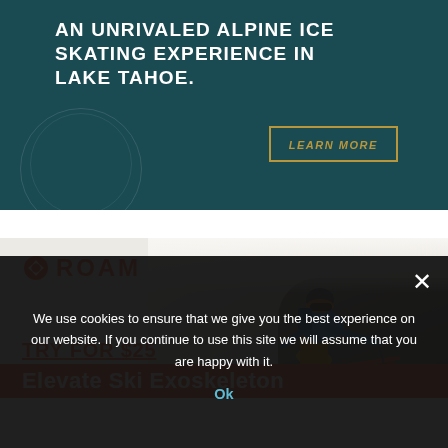[Figure (illustration): Dark teal banner advertisement for an alpine ice skating experience in Lake Tahoe. White bold text reads 'AN UNRIVALED ALPINE ICE SKATING EXPERIENCE IN LAKE TAHOE.' A gold-bordered button says 'LEARN MORE'. A faint fingerprint/circle graphic is in the lower left.]
[Figure (photo): ROAM brand advertisement showing a skier in blue jacket and orange pants carving down a snowy slope. Red ROAM logo with icon in upper left. 'TRY FOR $25' in red underlined text. Red banner at bottom reads 'Elevate Ski Exoskeleton'.]
We use cookies to ensure that we give you the best experience on our website. If you continue to use this site we will assume that you are happy with it.
Ok